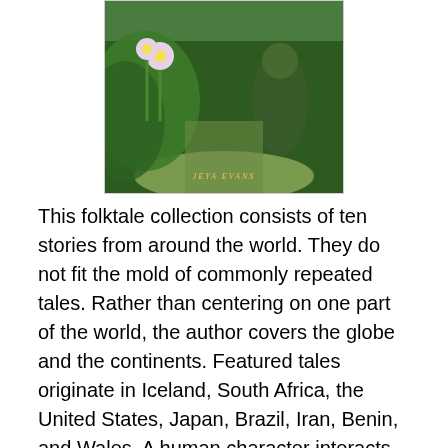[Figure (illustration): Book cover illustration showing a fantasy/folktale scene with green foliage, flowers, and a character, with the author name 'Jeya Evans' at the bottom]
This folktale collection consists of ten stories from around the world. They do not fit the mold of commonly repeated tales. Rather than centering on one part of the world, the author covers the globe and the continents. Featured tales originate in Iceland, South Africa, the United States, Japan, Brazil, Iran, Benin, and Wales. A human character interacts with magical spirits in each of the tales.
These nuggets of cultural traditions were passed down from generation to generation. They teach readers lessons about themselves, our relationships with the world around us, and how to honor and respect all forms of life both large and small. The advice to be truthful and to keep your